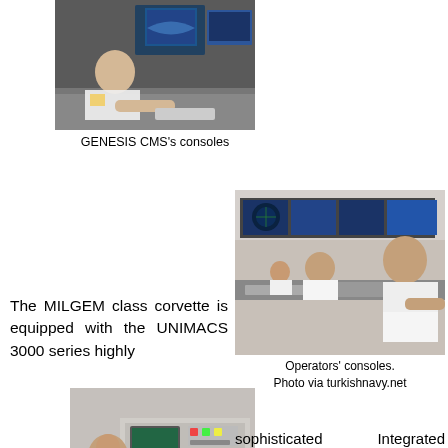[Figure (photo): A military operator sitting at a console with large monitors displaying tactical displays – GENESIS CMS consoles]
GENESIS CMS's consoles
[Figure (photo): Operators at consoles with multiple monitors in a ship combat management room]
Operators' consoles.
Photo via turkishnavy.net
The MILGEM class corvette is equipped with the UNIMACS 3000 series highly
[Figure (photo): A sailor/operator working at a control panel station on a ship]
sophisticated Integrated Platform Control Monitoring System (IPMS) developed by Yaltes, to maintain continuous and reliable operations, reduced